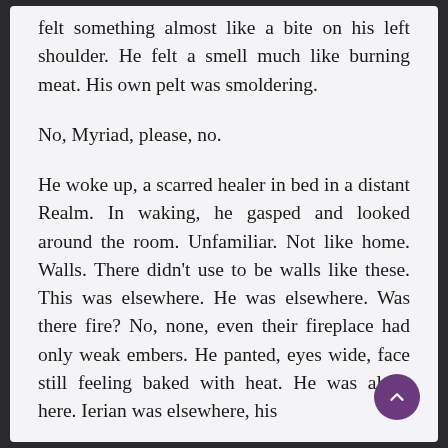felt something almost like a bite on his left shoulder. He felt a smell much like burning meat. His own pelt was smoldering.
No, Myriad, please, no.
He woke up, a scarred healer in bed in a distant Realm. In waking, he gasped and looked around the room. Unfamiliar. Not like home. Walls. There didn't use to be walls like these. This was elsewhere. He was elsewhere. Was there fire? No, none, even their fireplace had only weak embers. He panted, eyes wide, face still feeling baked with heat. He was alone here. Ierian was elsewhere, his